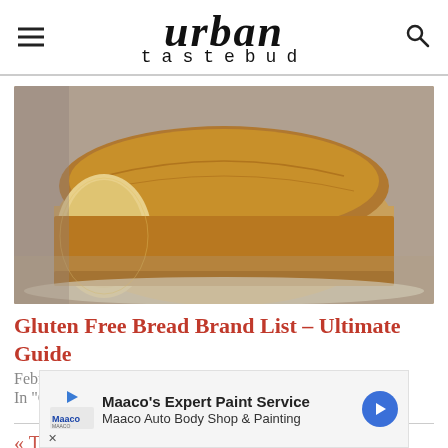urban tastebud
[Figure (photo): Close-up photo of a sliced loaf of gluten free bread on a wooden surface]
Gluten Free Bread Brand List – Ultimate Guide
February 28, 2016
In "Gluten Free"
This page is a text truncated preview of a fresh, hearty...
[Figure (infographic): Maaco's Expert Paint Service advertisement banner - Maaco Auto Body Shop & Painting]